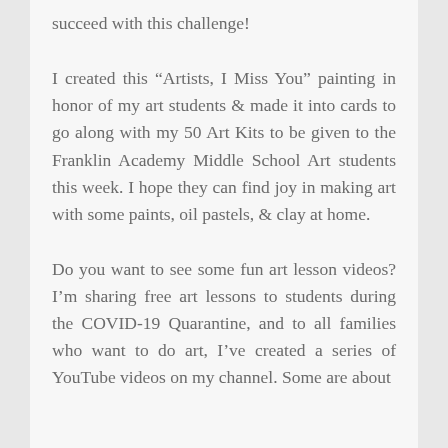succeed with this challenge!
I created this “Artists, I Miss You” painting in honor of my art students & made it into cards to go along with my 50 Art Kits to be given to the Franklin Academy Middle School Art students this week. I hope they can find joy in making art with some paints, oil pastels, & clay at home.
Do you want to see some fun art lesson videos? I’m sharing free art lessons to students during the COVID-19 Quarantine, and to all families who want to do art, I’ve created a series of YouTube videos on my channel. Some are about